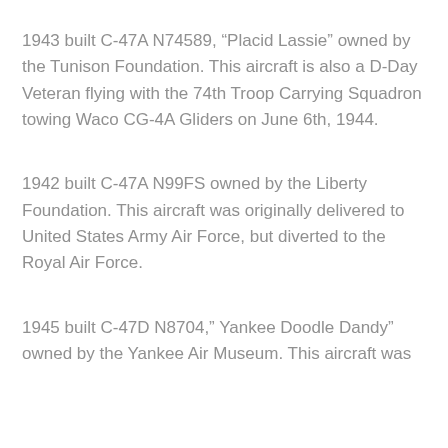1943 built C-47A N74589, “Placid Lassie” owned by the Tunison Foundation. This aircraft is also a D-Day Veteran flying with the 74th Troop Carrying Squadron towing Waco CG-4A Gliders on June 6th, 1944.
1942 built C-47A N99FS owned by the Liberty Foundation. This aircraft was originally delivered to United States Army Air Force, but diverted to the Royal Air Force.
1945 built C-47D N8704,” Yankee Doodle Dandy” owned by the Yankee Air Museum. This aircraft was